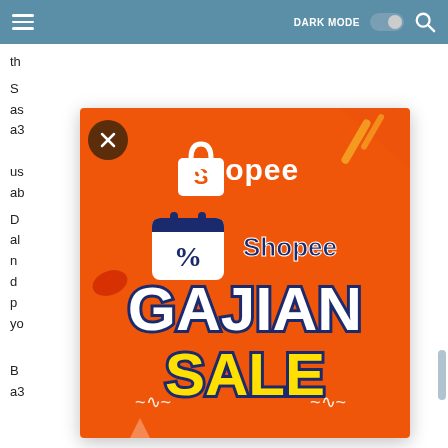DARK MODE [toggle] [search]
th...
S... as... a3... ed us... ab...
D... al... n... d... p... yo...
[Figure (logo): Shopee Gajian Sale promotional ad. Orange background with Shopee logo at top (white shopping bag icon with 'S' and 'Shopee' text), a calendar/tag icon with percent symbol, 'Shopee' text, and large bold text 'GAJIAN SALE' with decorative tilde marks. Yellow 'SALE' text at bottom.]
B... a3...